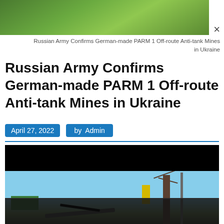[Figure (photo): A partial view of a green grassy area / advertisement banner image with a close button (×) in the top right]
Russian Army Confirms German-made PARM 1 Off-route Anti-tank Mines in Ukraine
Russian Army Confirms German-made PARM 1 Off-route Anti-tank Mines in Ukraine
April 27, 2022   by  Admin
[Figure (photo): A scene showing what appears to be military wreckage/destroyed vehicle with a blue sky background, tree, pole, and green-roofed building visible]